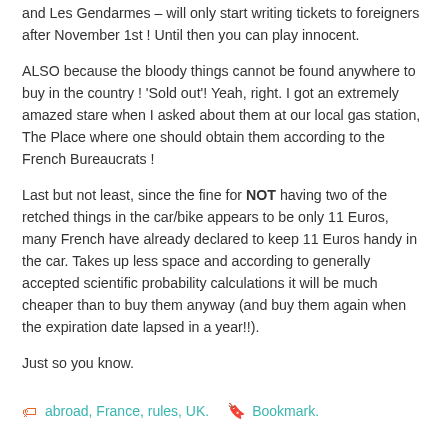and Les Gendarmes – will only start writing tickets to foreigners after November 1st ! Until then you can play innocent.
ALSO because the bloody things cannot be found anywhere to buy in the country ! 'Sold out'! Yeah, right. I got an extremely amazed stare when I asked about them at our local gas station, The Place where one should obtain them according to the French Bureaucrats !
Last but not least, since the fine for NOT having two of the retched things in the car/bike appears to be only 11 Euros, many French have already declared to keep 11 Euros handy in the car. Takes up less space and according to generally accepted scientific probability calculations it will be much cheaper than to buy them anyway (and buy them again when the expiration date lapsed in a year!!).
Just so you know.
abroad, France, rules, UK. Bookmark.